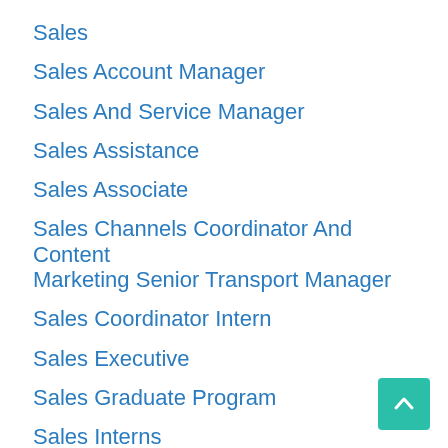Sales
Sales Account Manager
Sales And Service Manager
Sales Assistance
Sales Associate
Sales Channels Coordinator And Content Marketing Senior Transport Manager
Sales Coordinator Intern
Sales Executive
Sales Graduate Program
Sales Interns
Sales Manager
Sales Representative